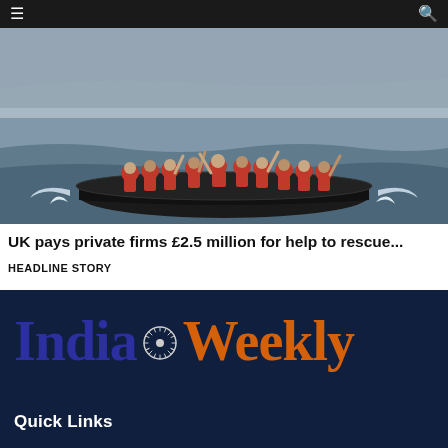≡  🔍
[Figure (photo): Photo of migrants in red life jackets crowded on a black inflatable dinghy on grey water]
UK pays private firms £2.5 million for help to rescue...
HEADLINE STORY
[Figure (logo): India Weekly logo — 'India' in dark blue bold serif, Ashoka Chakra wheel symbol, 'Weekly' in orange bold serif]
Quick Links